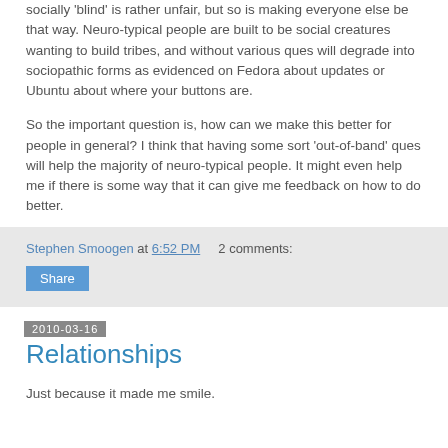socially 'blind' is rather unfair, but so is making everyone else be that way. Neuro-typical people are built to be social creatures wanting to build tribes, and without various ques will degrade into sociopathic forms as evidenced on Fedora about updates or Ubuntu about where your buttons are.
So the important question is, how can we make this better for people in general? I think that having some sort 'out-of-band' ques will help the majority of neuro-typical people. It might even help me if there is some way that it can give me feedback on how to do better.
Stephen Smoogen at 6:52 PM    2 comments:
Share
2010-03-16
Relationships
Just because it made me smile.